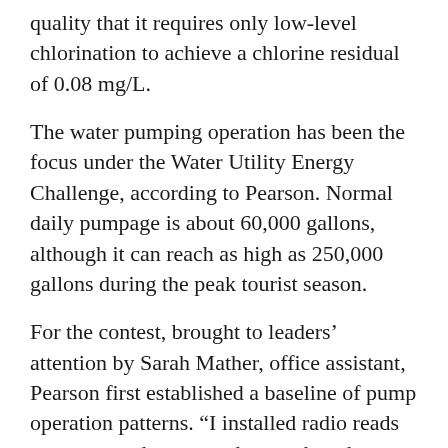quality that it requires only low-level chlorination to achieve a chlorine residual of 0.08 mg/L.
The water pumping operation has been the focus under the Water Utility Energy Challenge, according to Pearson. Normal daily pumpage is about 60,000 gallons, although it can reach as high as 250,000 gallons during the peak tourist season.
For the contest, brought to leaders’ attention by Sarah Mather, office assistant, Pearson first established a baseline of pump operation patterns. “I installed radio reads at our pump houses to detect when the pumps call for water and turn on,” he says. “We let that run for a while to determine at what times of day the pumps were running.”
Save the trees for beavers, sign up for our E-Newsletter!